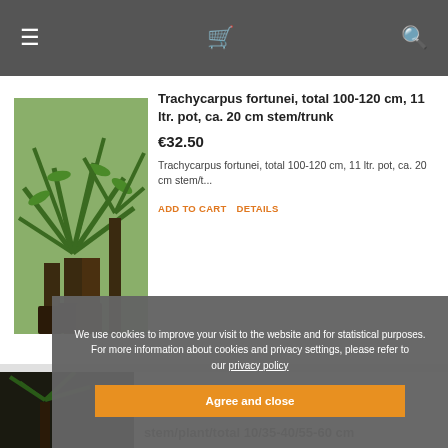Navigation bar with menu, cart, and search icons
Trachycarpus fortunei, total 100-120 cm, 11 ltr. pot, ca. 20 cm stem/trunk
€32.50
Trachycarpus fortunei, total 100-120 cm, 11 ltr. pot, ca. 20 cm stem/t...
ADD TO CART  DETAILS
We use cookies to improve your visit to the website and for statistical purposes. For more information about cookies and privacy settings, please refer to our privacy policy
Agree and close
stem/plant/total 10/35-40/55-60 cm